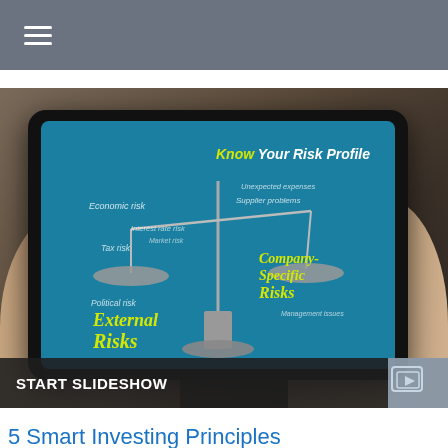[Figure (photo): Person holding a tablet displaying a graphic about Know Your Risk Profile, showing a balance scale with External Risks on the left and Company-Specific Risks on the right, on a teal background. Below the image is a START SLIDESHOW button.]
5 Smart Investing Principles